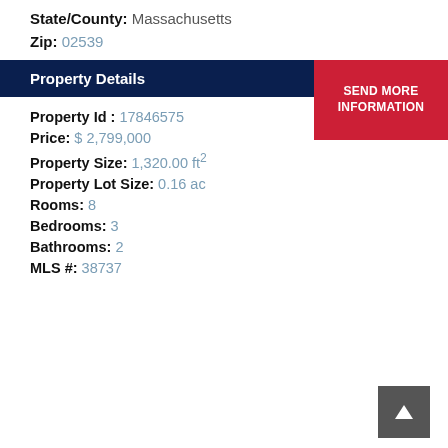State/County: Massachusetts
Zip: 02539
Property Details
Property Id : 17846575
Price: $ 2,799,000
Property Size: 1,320.00 ft²
Property Lot Size: 0.16 ac
Rooms: 8
Bedrooms: 3
Bathrooms: 2
MLS #: 38737